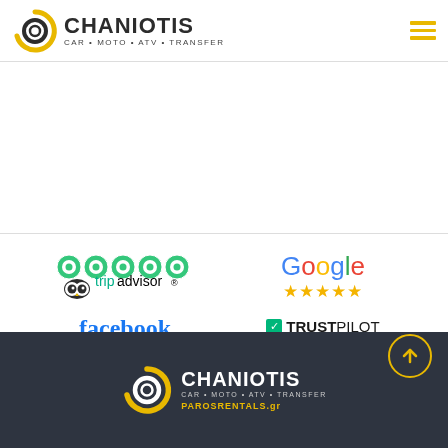[Figure (logo): Chaniotis Car Moto ATV Transfer logo with circular icon]
[Figure (logo): TripAdvisor 5-bubble rating logo]
[Figure (logo): Google 5-star rating logo]
[Figure (logo): Facebook 5-star rating logo]
[Figure (logo): Trustpilot 4-star rating logo]
CHANIOTIS CAR • MOTO • ATV • TRANSFER PAROSRENTALS.gr